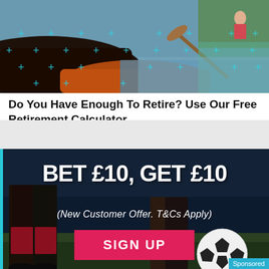[Figure (photo): Two people kayaking on water, close-up of kayak hull and paddle, with teal/cyan plus sign overlay pattern]
Do You Have Enough To Retire? Use Our Free Retirement Calculator.
Sponsored - Personal Capital
[Figure (photo): Dark background with football player legs and soccer ball. Text: BET £10, GET £10 with SIGN UP button. New Customer Offer, T&Cs Apply.]
Sponsored